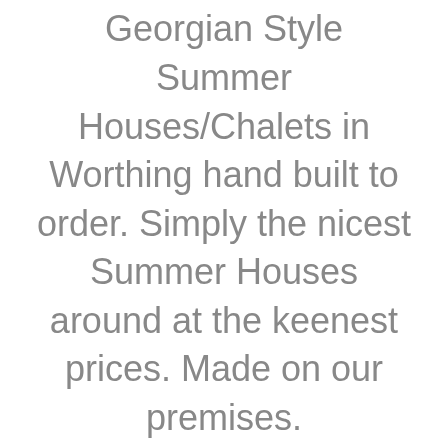Georgian Style Summer Houses/Chalets in Worthing hand built to order. Simply the nicest Summer Houses around at the keenest prices. Made on our premises.